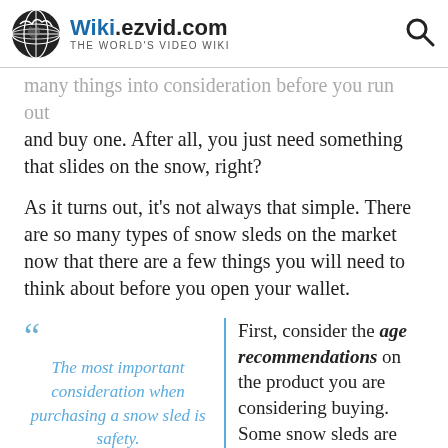Wiki.ezvid.com — The World's Video Wiki
many things into consideration before you run out and buy one. After all, you just need something that slides on the snow, right?
As it turns out, it's not always that simple. There are so many types of snow sleds on the market now that there are a few things you will need to think about before you open your wallet.
The most important consideration when purchasing a snow sled is safety.
First, consider the age recommendations on the product you are considering buying. Some snow sleds are built